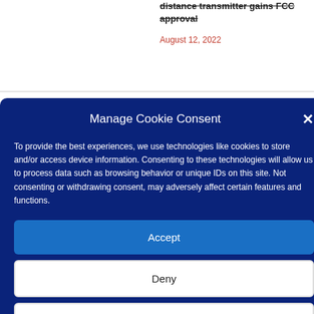distance transmitter gains FCC approval
August 12, 2022
Manage Cookie Consent
To provide the best experiences, we use technologies like cookies to store and/or access device information. Consenting to these technologies will allow us to process data such as browsing behavior or unique IDs on this site. Not consenting or withdrawing consent, may adversely affect certain features and functions.
Accept
Deny
View preferences